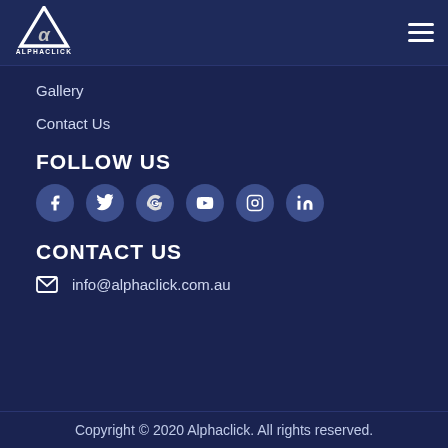[Figure (logo): AlphaClick IT Solutions logo with triangular icon and text]
Gallery
Contact Us
FOLLOW US
[Figure (infographic): Row of social media icon circles: Facebook, Twitter, Google, YouTube, Instagram, LinkedIn]
CONTACT US
info@alphaclick.com.au
Copyright © 2020 Alphaclick. All rights reserved.